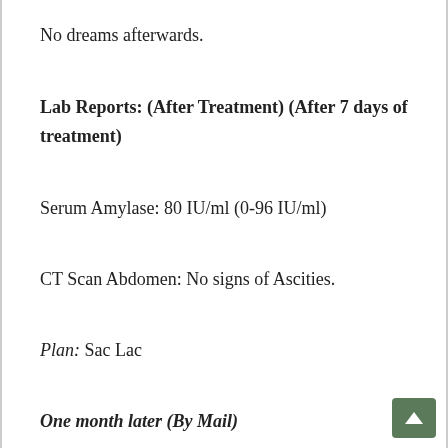No dreams afterwards.
Lab Reports: (After Treatment) (After 7 days of treatment)
Serum Amylase: 80 IU/ml (0-96 IU/ml)
CT Scan Abdomen: No signs of Ascities.
Plan: Sac Lac
One month later (By Mail)
I have not got the pain since then, few days back I